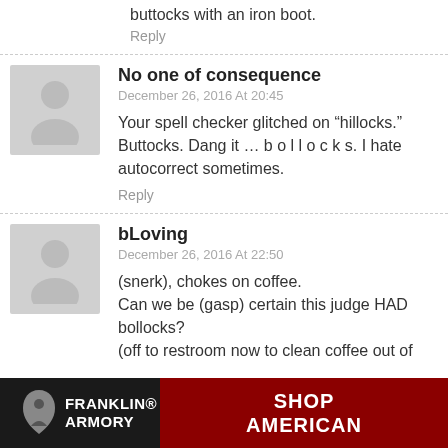buttocks with an iron boot.
Reply
No one of consequence
December 26, 2016 At 20:45
Your spell checker glitched on “hillocks.” Buttocks. Dang it … b o l l o c k s. I hate autocorrect sometimes.
Reply
bLoving
December 26, 2016 At 22:50
(snerk), chokes on coffee.
Can we be (gasp) certain this judge HAD bollocks?
(off to restroom now to clean coffee out of
[Figure (infographic): Franklin Armory advertisement banner with logo and text SHOP AMERICAN]